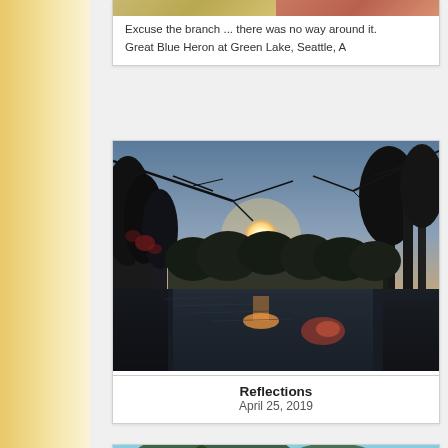[Figure (photo): Partial view of two photos side by side at top - appears to be bird/heron photos cropped at top of page]
Excuse the branch ... there was no way around it. Great Blue Heron at Green Lake, Seattle, A...
[Figure (photo): Sunset reflected on a lake with silhouetted trees, branches in foreground, sun lens flare visible - outdoor nature photograph]
Reflections
April 25, 2019
[Figure (photo): Partial view of another outdoor nature photo at bottom - shows trees against blue sky, partially cropped]